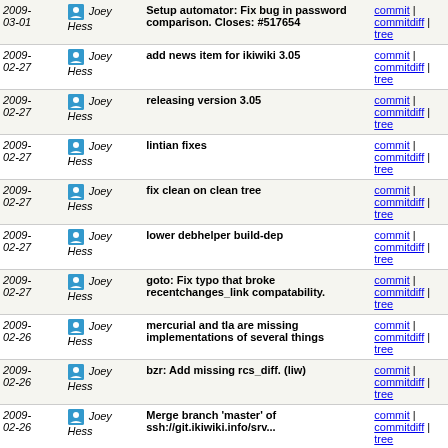| Date | Author | Message | Links |
| --- | --- | --- | --- |
| 2009-03-01 | Joey Hess | Setup automator: Fix bug in password comparison. Closes: #517654 | commit | commitdiff | tree |
| 2009-02-27 | Joey Hess | add news item for ikiwiki 3.05 | commit | commitdiff | tree |
| 2009-02-27 | Joey Hess | releasing version 3.05 | commit | commitdiff | tree |
| 2009-02-27 | Joey Hess | lintian fixes | commit | commitdiff | tree |
| 2009-02-27 | Joey Hess | fix clean on clean tree | commit | commitdiff | tree |
| 2009-02-27 | Joey Hess | lower debhelper build-dep | commit | commitdiff | tree |
| 2009-02-27 | Joey Hess | goto: Fix typo that broke recentchanges_link compatability. | commit | commitdiff | tree |
| 2009-02-26 | Joey Hess | mercurial and tla are missing implementations of several things | commit | commitdiff | tree |
| 2009-02-26 | Joey Hess | bzr: Add missing rcs_diff. (liw) | commit | commitdiff | tree |
| 2009-02-26 | Joey Hess | Merge branch 'master' of ssh://git.ikiwiki.info/srv... | commit | commitdiff | tree |
| 2009-02-26 | Joey Hess | comments: Avoid showing comment moderation button in... | commit | commitdiff | tree |
| 2009-02-26 | Joey Hess | detect sslcookie set and no https | commit | commitdiff | tree |
| 2009- | Joey | response | commit | commitdiff |